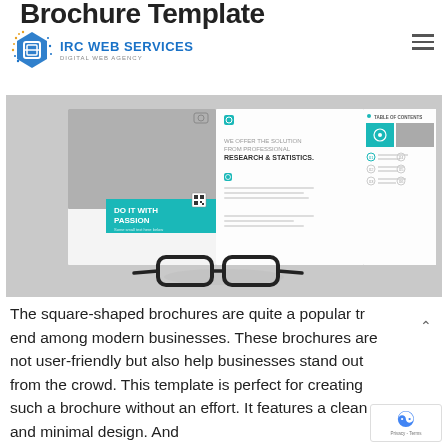Brochure Template
[Figure (logo): IRC Web Services logo with blue hexagon icon and text 'IRC WEB SERVICES / DIGITAL WEB AGENCY']
[Figure (photo): A brochure mockup showing three brochure pages/spreads on a gray background with glasses. Left page shows a man working with text 'DO IT WITH PASSION', middle page shows 'WE OFFER THE SOLUTION FROM PROFESSIONAL RESEARCH & STATISTICS.', right page shows 'TABLE OF CONTENTS' with teal accents.]
The square-shaped brochures are quite a popular trend among modern businesses. These brochures are not only user-friendly but also help businesses stand out from the crowd. This template is perfect for creating such a brochure without an effort. It features a clean and minimal design. And